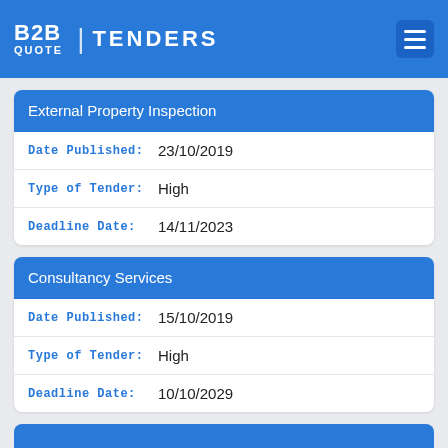B2B QUOTE | TENDERS
External Property Inspection
Date Published: 23/10/2019
Type of Tender: High
Deadline Date: 14/11/2023
Consultancy Services
Date Published: 15/10/2019
Type of Tender: High
Deadline Date: 10/10/2029